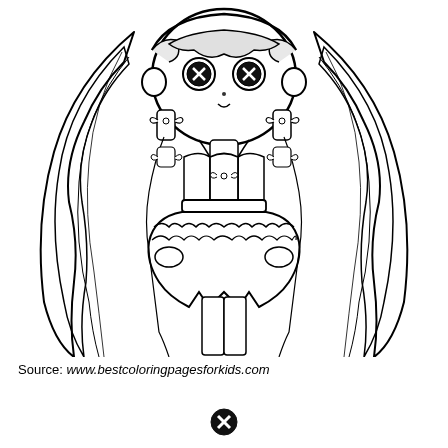[Figure (illustration): Chibi anime girl coloring page line art. The character has very long straight hair in two low pigtails tied with bows, large round head with big eyes featuring X-shaped pupils (button eyes), wearing a sleeveless dress with ruffled skirt and a small bow at the chest. The style is black and white outline art typical of a coloring book page.]
Source: www.bestcoloringpagesforkids.com